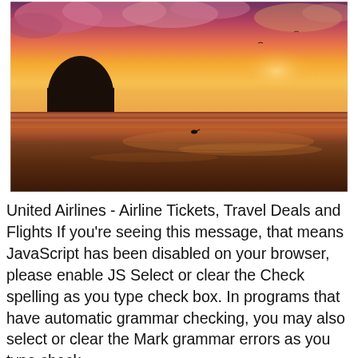[Figure (photo): Sunset beach photograph with dramatic orange and pink sky, a large rock formation silhouetted on the left, wet reflective sand in the foreground, and a seabird visible near the center.]
United Airlines - Airline Tickets, Travel Deals and Flights If you're seeing this message, that means JavaScript has been disabled on your browser, please enable JS Select or clear the Check spelling as you type check box. In programs that have automatic grammar checking, you may also select or clear the Mark grammar errors as you type check box. Note: In Word, you can turn the spelling...